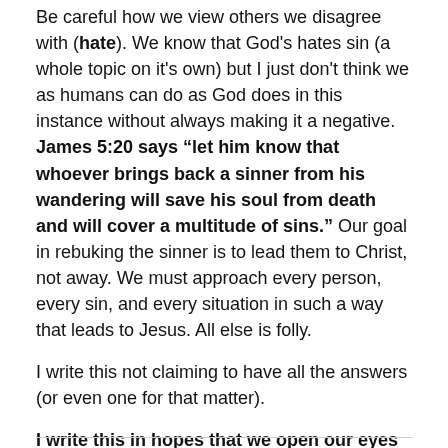Be careful how we view others we disagree with (hate). We know that God's hates sin (a whole topic on it's own) but I just don't think we as humans can do as God does in this instance without always making it a negative. James 5:20 says “let him know that whoever brings back a sinner from his wandering will save his soul from death and will cover a multitude of sins.” Our goal in rebuking the sinner is to lead them to Christ, not away. We must approach every person, every sin, and every situation in such a way that leads to Jesus. All else is folly.
I write this not claiming to have all the answers (or even one for that matter).
I write this in hopes that we open our eyes because God does.